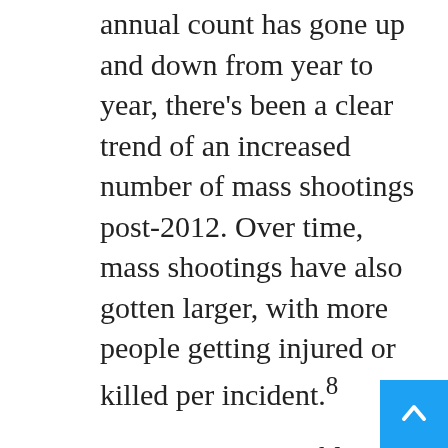annual count has gone up and down from year to year, there's been a clear trend of an increased number of mass shootings post-2012. Over time, mass shootings have also gotten larger, with more people getting injured or killed per incident.8
How can we possibly ignore the connection between rampant use of drugs known to directly cause violent behavior and the rise in mass shootings? Suicidal ideation, violence and homicidal ideation are all known side effects of these drugs. Sometimes, the drugs disrupt brain function so dramatically the perpetrator can't even remember what they did.
For example, in 2001, a 16-year-old high schooler was prescribed Effexor, starting off at 40 milligrams and moving up to 300 mg over the course of three weeks. On the first day of taking